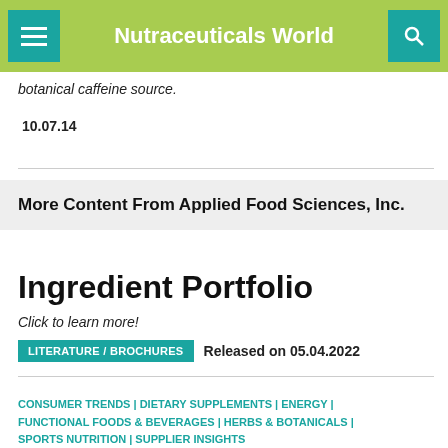Nutraceuticals World
botanical caffeine source.
10.07.14
More Content From Applied Food Sciences, Inc.
Ingredient Portfolio
Click to learn more!
LITERATURE / BROCHURES   Released on 05.04.2022
CONSUMER TRENDS | DIETARY SUPPLEMENTS | ENERGY | FUNCTIONAL FOODS & BEVERAGES | HERBS & BOTANICALS | SPORTS NUTRITION | SUPPLIER INSIGHTS